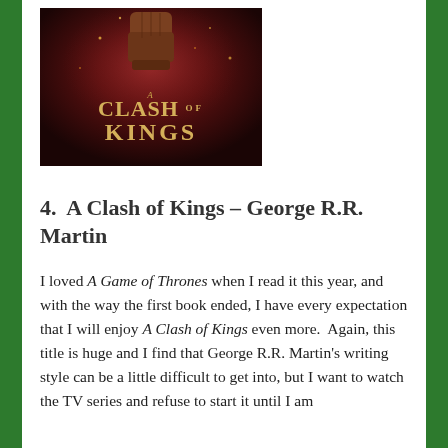[Figure (photo): Book cover of 'A Clash of Kings' by George R.R. Martin — dark red/brown background with a fist holding something, golden title text reading 'A CLASH OF KINGS']
4.  A Clash of Kings – George R.R. Martin
I loved A Game of Thrones when I read it this year, and with the way the first book ended, I have every expectation that I will enjoy A Clash of Kings even more.  Again, this title is huge and I find that George R.R. Martin's writing style can be a little difficult to get into, but I want to watch the TV series and refuse to start it until I am caught up on the books, which is even now